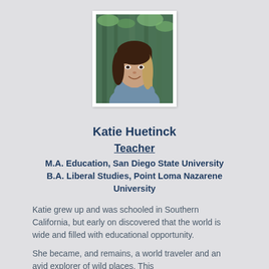[Figure (photo): Headshot of Katie Huetinck, a woman with dark brown and blonde hair, smiling, wearing a blue-gray top, outdoors with green foliage background.]
Katie Huetinck
Teacher
M.A. Education, San Diego State University
B.A. Liberal Studies, Point Loma Nazarene University
Katie grew up and was schooled in Southern California, but early on discovered that the world is wide and filled with educational opportunity.
She became, and remains, a world traveler and an avid explorer of wild places. This